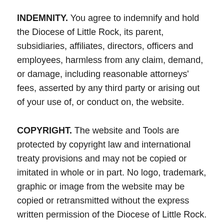INDEMNITY. You agree to indemnify and hold the Diocese of Little Rock, its parent, subsidiaries, affiliates, directors, officers and employees, harmless from any claim, demand, or damage, including reasonable attorneys' fees, asserted by any third party or arising out of your use of, or conduct on, the website.
COPYRIGHT. The website and Tools are protected by copyright law and international treaty provisions and may not be copied or imitated in whole or in part. No logo, trademark, graphic or image from the website may be copied or retransmitted without the express written permission of the Diocese of Little Rock.
GENERAL. Your use of the website shall be governed by all applicable Federal laws of the United States of America and the laws of the State of Arkansas. Certain sections or